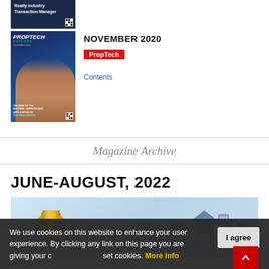[Figure (screenshot): Top magazine thumbnail - Realty Industry Transaction Manager cover, dark blue background]
[Figure (photo): PropTech Outlook November 2020 magazine cover showing woman on blue background with AI in Real Estate headline]
NOVEMBER 2020
PropTech
Contents
Magazine Archive
JUNE-AUGUST, 2022
[Figure (illustration): Magazine cover for June-August 2022 issue showing a gold trophy and technology icons on light blue background]
We use cookies on this website to enhance your user experience. By clicking any link on this page you are giving your c... set cookies. More info